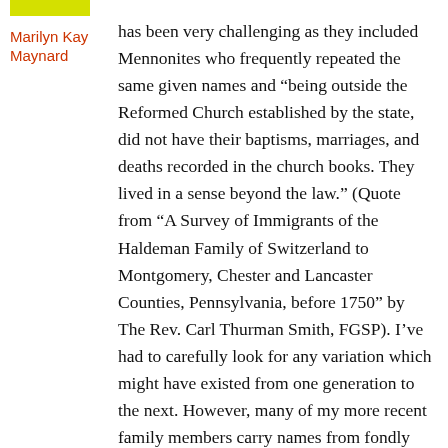Marilyn Kay Maynard
has been very challenging as they included Mennonites who frequently repeated the same given names and “being outside the Reformed Church established by the state, did not have their baptisms, marriages, and deaths recorded in the church books. They lived in a sense beyond the law.” (Quote from “A Survey of Immigrants of the Haldeman Family of Switzerland to Montgomery, Chester and Lancaster Counties, Pennsylvania, before 1750” by The Rev. Carl Thurman Smith, FGSP). I’ve had to carefully look for any variation which might have existed from one generation to the next. However, many of my more recent family members carry names from fondly remembered grandparents or aunts and uncles, which are usually varied enough to easily distinguish them. Of course, when